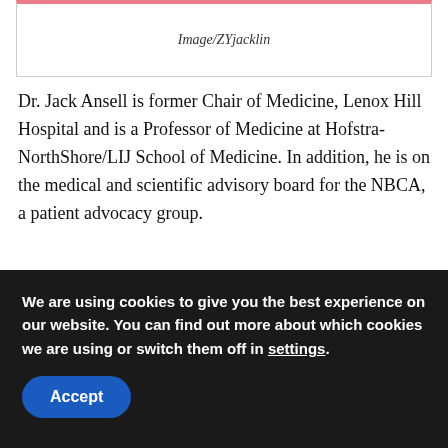[Figure (other): Image placeholder box with pink top border and italic caption 'Image/ZYjacklin']
Image/ZYjacklin
Dr. Jack Ansell is former Chair of Medicine, Lenox Hill Hospital and is a Professor of Medicine at Hofstra-NorthShore/LIJ School of Medicine. In addition, he is on the medical and scientific advisory board for the NBCA, a patient advocacy group.
Dr. Ansell went through a number of topics concerning deep vein thrombosis (DVT and pulmonary embolism (PE) including the differences between DVT and PE, risk factors,
We are using cookies to give you the best experience on our website. You can find out more about which cookies we are using or switch them off in settings.
Accept